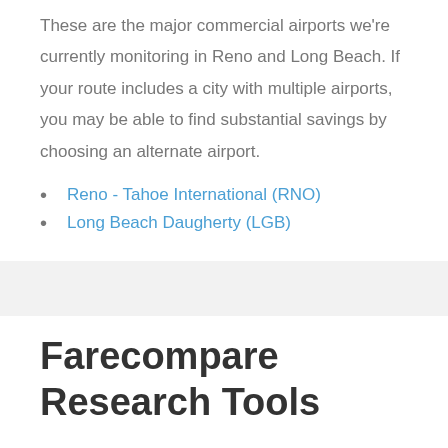These are the major commercial airports we're currently monitoring in Reno and Long Beach. If your route includes a city with multiple airports, you may be able to find substantial savings by choosing an alternate airport.
Reno - Tahoe International (RNO)
Long Beach Daugherty (LGB)
Farecompare Research Tools
FareCompare's Flight Schedule Search Tool helps you find information about airline schedules, airline...